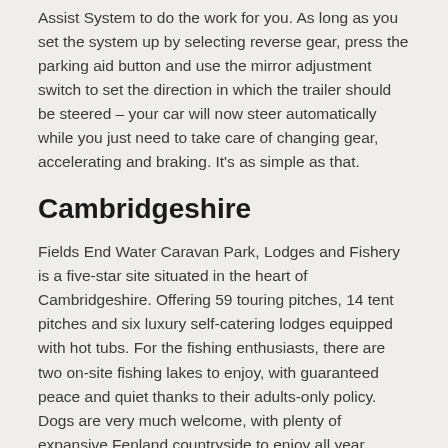Assist System to do the work for you. As long as you set the system up by selecting reverse gear, press the parking aid button and use the mirror adjustment switch to set the direction in which the trailer should be steered – your car will now steer automatically while you just need to take care of changing gear, accelerating and braking. It's as simple as that.
Cambridgeshire
Fields End Water Caravan Park, Lodges and Fishery is a five-star site situated in the heart of Cambridgeshire. Offering 59 touring pitches, 14 tent pitches and six luxury self-catering lodges equipped with hot tubs. For the fishing enthusiasts, there are two on-site fishing lakes to enjoy, with guaranteed peace and quiet thanks to their adults-only policy. Dogs are very much welcome, with plenty of expansive Fenland countryside to enjoy all year round.